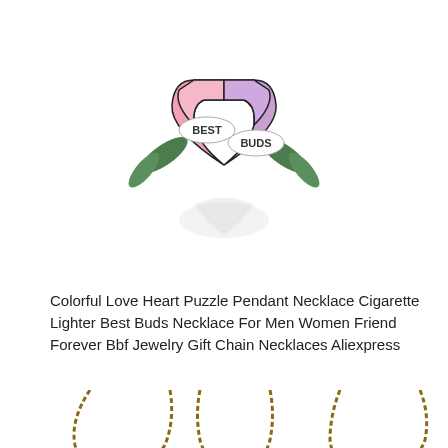[Figure (photo): A colorful enamel pin/pendant showing a split heart puzzle piece with pink and purple sections, leaves, and banners reading 'BEST' and 'BUDS'. Below the pendant is a faint reflection/shadow.]
Colorful Love Heart Puzzle Pendant Necklace Cigarette Lighter Best Buds Necklace For Men Women Friend Forever Bbf Jewelry Gift Chain Necklaces Aliexpress
[Figure (photo): Three bronze/antique-toned round pendant necklaces with chains, each featuring a circular glass cabochon pendant showing a black and white heart design. The three necklaces are arranged side by side, partially visible from the bottom of the image.]